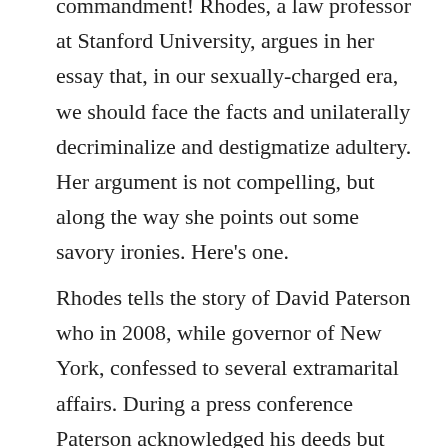commandment! Rhodes, a law professor at Stanford University, argues in her essay that, in our sexually-charged era, we should face the facts and unilaterally decriminalize and destigmatize adultery. Her argument is not compelling, but along the way she points out some savory ironies. Here's one.
Rhodes tells the story of David Paterson who in 2008, while governor of New York, confessed to several extramarital affairs. During a press conference Paterson acknowledged his deeds but pointed out that At least I didn't break the law. A few days later the New York Times pointed out that, in fact, the governor did break the law. Adultery is a